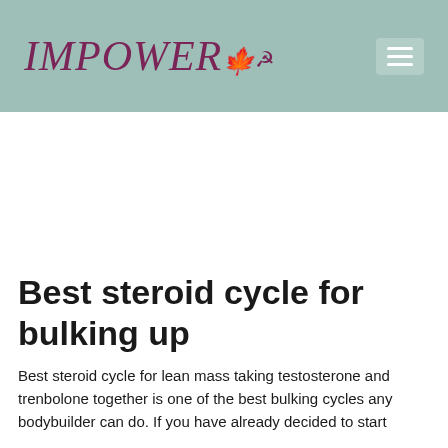IMPOWER
Best steroid cycle for bulking up
Best steroid cycle for lean mass taking testosterone and trenbolone together is one of the best bulking cycles any bodybuilder can do. If you have already decided to start